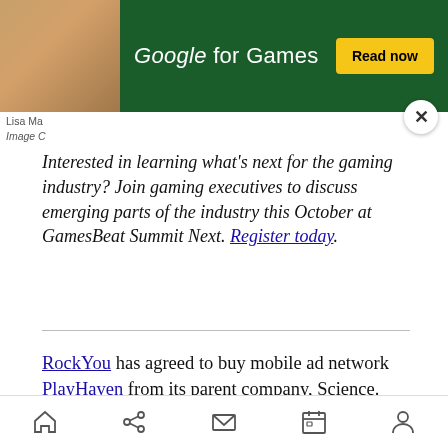[Figure (screenshot): Google for Games advertisement banner with dark green background, 'Google for Games' text and 'Read now' yellow button, partially overlapping a photo of a person]
Lisa Ma... Image C...
Interested in learning what's next for the gaming industry? Join gaming executives to discuss emerging parts of the industry this October at GamesBeat Summit Next. Register today.
RockYou has agreed to buy mobile ad network PlayHaven from its parent company, Science.

The deal shows RockYou's unique position as both an operator of social games and a big advertising
Home | Share | Mail | Calendar | Person (navigation icons)